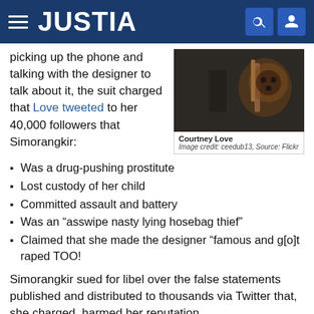JUSTIA
picking up the phone and talking with the designer to talk about it, the suit charged that Love tweeted to her 40,000 followers that Simorangkir:
[Figure (photo): Photo of Courtney Love with guitar. Image credit: ceedub13, Source: Flickr]
Courtney Love
Image credit: ceedub13, Source: Flickr
Was a drug-pushing prostitute
Lost custody of her child
Committed assault and battery
Was an “asswipe nasty lying hosebag thief”
Claimed that she made the designer “famous and g[o]t raped TOO!
Simorangkir sued for libel over the false statements published and distributed to thousands via Twitter that, she charged, harmed her reputation.
(partial bottom line)